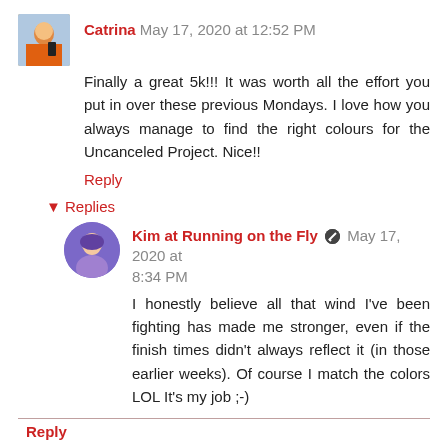Catrina May 17, 2020 at 12:52 PM
Finally a great 5k!!! It was worth all the effort you put in over these previous Mondays. I love how you always manage to find the right colours for the Uncanceled Project. Nice!!
Reply
Replies
Kim at Running on the Fly May 17, 2020 at 8:34 PM
I honestly believe all that wind I've been fighting has made me stronger, even if the finish times didn't always reflect it (in those earlier weeks). Of course I match the colors LOL It's my job ;-)
Reply
The Right Fits May 17, 2020 at 1:22 PM